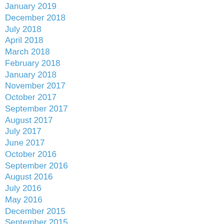January 2019
December 2018
July 2018
April 2018
March 2018
February 2018
January 2018
November 2017
October 2017
September 2017
August 2017
July 2017
June 2017
October 2016
September 2016
August 2016
July 2016
May 2016
December 2015
September 2015
August 2015